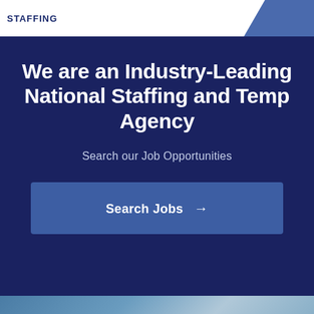STAFFING
We are an Industry-Leading National Staffing and Temp Agency
Search our Job Opportunities
Search Jobs →